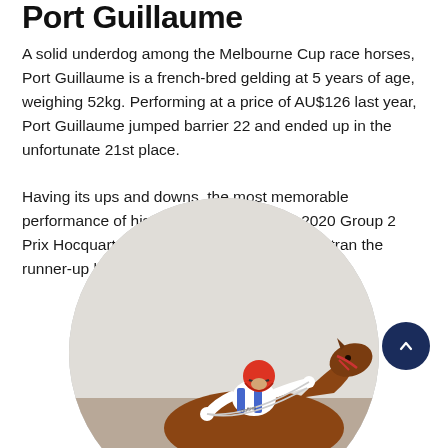Port Guillaume
A solid underdog among the Melbourne Cup race horses, Port Guillaume is a french-bred gelding at 5 years of age, weighing 52kg. Performing at a price of AU$126 last year, Port Guillaume jumped barrier 22 and ended up in the unfortunate 21st place.
Having its ups and downs, the most memorable performance of his career is a win in the 2020 Group 2 Prix Hocquart, a race of 2500m, where he outran the runner-up by three lengths.
[Figure (photo): A jockey in white and blue silks with a red helmet riding a chestnut horse, shown in a circular cropped photo.]